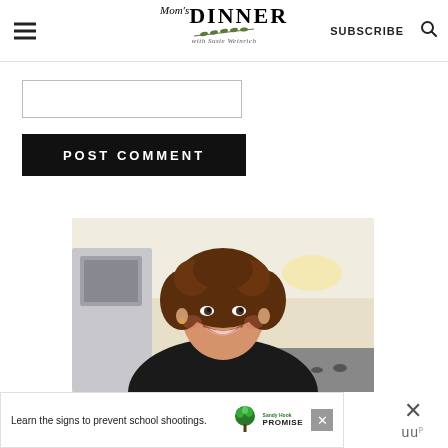Mom's DINNER with Susie Weinrich | SUBSCRIBE
[Figure (screenshot): Text input box / comment field (partially visible, empty)]
[Figure (illustration): POST COMMENT button — black background with white uppercase bold text]
[Figure (photo): Photo of Susie Weinrich, a woman with curly brown hair smiling in a kitchen wearing a black top]
Learn the signs to prevent school shootings.
[Figure (logo): Sandy Hook Promise logo — green tree icon with text 'Sandy Hook PROMISE']